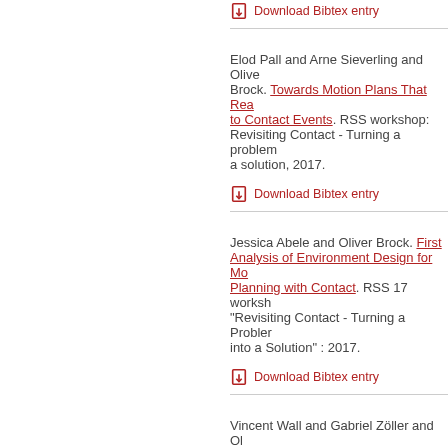Download Bibtex entry
Elod Pall and Arne Sieverling and Oliver Brock. Towards Motion Plans That React to Contact Events. RSS workshop: Revisiting Contact - Turning a problem into a solution, 2017. Download Bibtex entry
Jessica Abele and Oliver Brock. First Analysis of Environment Design for Motion Planning with Contact. RSS 17 workshop "Revisiting Contact - Turning a Problem into a Solution" : 2017. Download Bibtex entry
Vincent Wall and Gabriel Zöller and Oliver Brock. A Method for Sensorizing Soft Actuators and Its Application to the RBO Hand 2. Proceedings of the IEEE International Conference on Robotics and Automation (ICRA), pp. 4965–4970, 20... Download Bibtex entry
Kolja Stahl and Michael Schneider and Oliver Brock. EPSILON CR: using de...